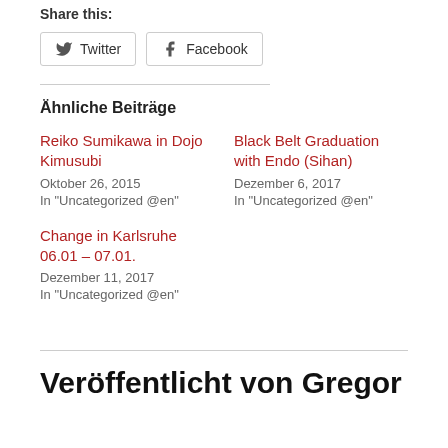Share this:
Twitter  Facebook
Ähnliche Beiträge
Reiko Sumikawa in Dojo Kimusubi
Oktober 26, 2015
In "Uncategorized @en"
Black Belt Graduation with Endo (Sihan)
Dezember 6, 2017
In "Uncategorized @en"
Change in Karlsruhe 06.01 – 07.01.
Dezember 11, 2017
In "Uncategorized @en"
Veröffentlicht von Gregor